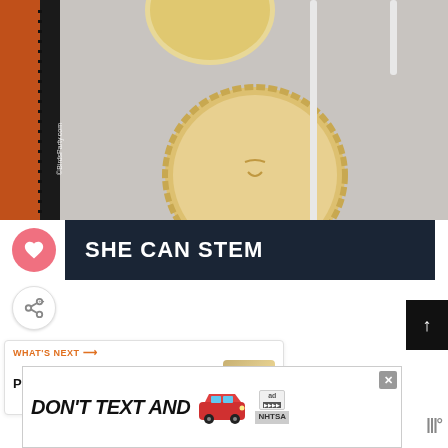[Figure (photo): Overhead photo of pie pops (pie-like pastries on sticks) on parchment paper baking tray. Round pastries with crimped edges and slit decorations on top, with white paper lollipop sticks inserted. Tray has dark serrated edge visible on left side.]
SHE CAN STEM
WHAT'S NEXT →
Party Appetizer |...
[Figure (photo): Small thumbnail of party appetizer dish]
[Figure (other): Advertisement banner: DON'T TEXT AND [car graphic] with ad choices badge and NHTSA logo]